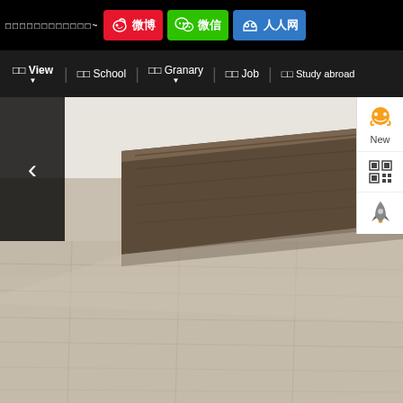□□□□□□□□□□□□~ 微博 微信 人人网
□□ View | □□ School | □□ Granary | □□ Job | □□ Study abroad
[Figure (photo): Interior photo of a modern room with wood-look flooring, light grey tone planks and a dark brown wood-look baseboard/step divider in the middle of the frame]
< (left navigation arrow)
[Figure (infographic): Floating right sidebar panel with QQ icon labeled 'New', a QR code icon, and a rocket/launch icon]